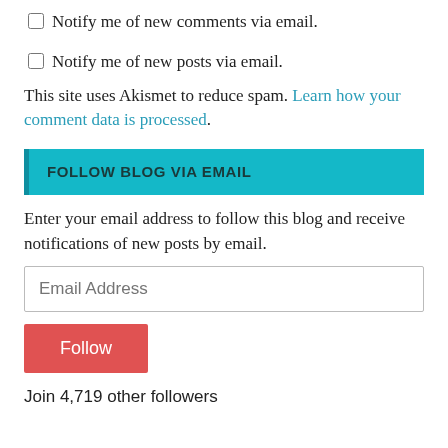Notify me of new comments via email.
Notify me of new posts via email.
This site uses Akismet to reduce spam. Learn how your comment data is processed.
FOLLOW BLOG VIA EMAIL
Enter your email address to follow this blog and receive notifications of new posts by email.
Email Address
Follow
Join 4,719 other followers